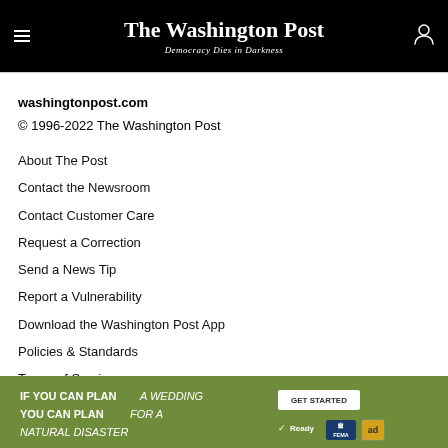The Washington Post — Democracy Dies in Darkness
washingtonpost.com
© 1996-2022 The Washington Post
About The Post
Contact the Newsroom
Contact Customer Care
Request a Correction
Send a News Tip
Report a Vulnerability
Download the Washington Post App
Policies & Standards
Terms of Service
Privacy Policy
Cookie Settings
[Figure (infographic): Green advertisement banner: IF YOU CAN PLAN A WEDDING YOU CAN PLAN FOR A NATURAL DISASTER. GET STARTED button with Ready, FEMA and ad logos.]